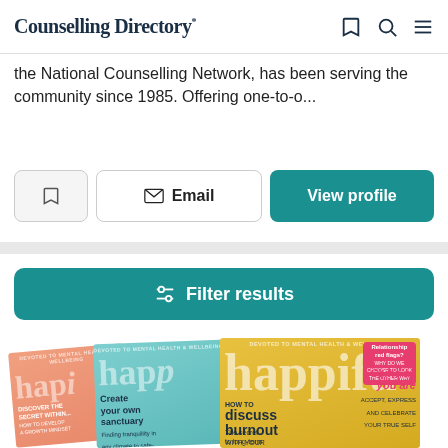Counselling Directory
the National Counselling Network, has been serving the community since 1985. Offering one-to-o...
Email | View profile
Filter results
[Figure (photo): Three issues of Happiful magazine fanned out. Left issue features pink/orange cover with 'DISCOVER THE SECRET WITHIN...' text. Middle issue is teal with 'Create your own sanctuary' headline. Right issue is yellow/gold with 'HOW TO discuss burnout WITH YOUR BOSS' and 'Relationship red flags?' callout, a woman with stylish sunglasses illustration, 'Come as you are' text, and 'The secret to long-term' text at bottom.]